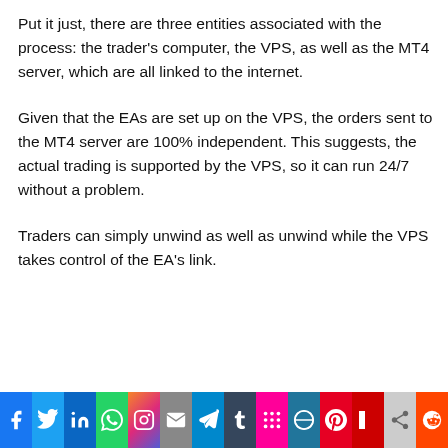Put it just, there are three entities associated with the process: the trader's computer, the VPS, as well as the MT4 server, which are all linked to the internet.
Given that the EAs are set up on the VPS, the orders sent to the MT4 server are 100% independent. This suggests, the actual trading is supported by the VPS, so it can run 24/7 without a problem.
Traders can simply unwind as well as unwind while the VPS takes control of the EA's link.
[Figure (infographic): Social media sharing bar with icons for Facebook, Twitter, LinkedIn, WhatsApp, Instagram, Email, Telegram, Tumblr, Mix, WordPress, Pinterest, Flipboard, and Reddit]